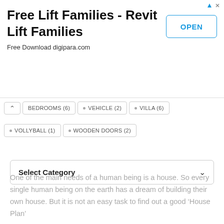[Figure (screenshot): Advertisement banner for 'Free Lift Families - Revit Lift Families' with an OPEN button and subtitle 'Free Download digipara.com']
BEDROOMS (6)
VEHICLE (2)
VILLA (6)
VOLLYBALL (1)
WOODEN DOORS (2)
Select Category
One of the main needs of a human being is a house. So every single human being on the earth has a dream of building their own house. But it is not an easy task to find out a good ‘House Plan’